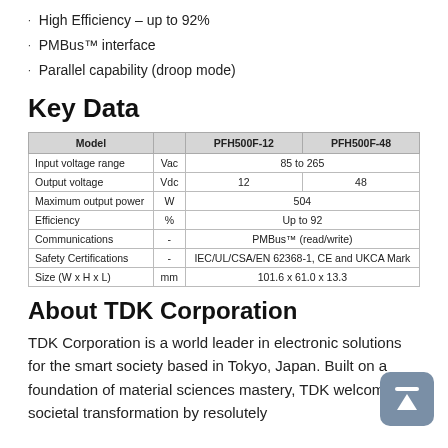High Efficiency – up to 92%
PMBus™ interface
Parallel capability (droop mode)
Key Data
| Model |  | PFH500F-12 | PFH500F-48 |
| --- | --- | --- | --- |
| Input voltage range | Vac | 85 to 265 | 85 to 265 |
| Output voltage | Vdc | 12 | 48 |
| Maximum output power | W | 504 | 504 |
| Efficiency | % | Up to 92 | Up to 92 |
| Communications | - | PMBus™ (read/write) | PMBus™ (read/write) |
| Safety Certifications | - | IEC/UL/CSA/EN 62368-1, CE and UKCA Mark | IEC/UL/CSA/EN 62368-1, CE and UKCA Mark |
| Size (W x H x L) | mm | 101.6 x 61.0 x 13.3 | 101.6 x 61.0 x 13.3 |
About TDK Corporation
TDK Corporation is a world leader in electronic solutions for the smart society based in Tokyo, Japan. Built on a foundation of material sciences mastery, TDK welcomes societal transformation by resolutely